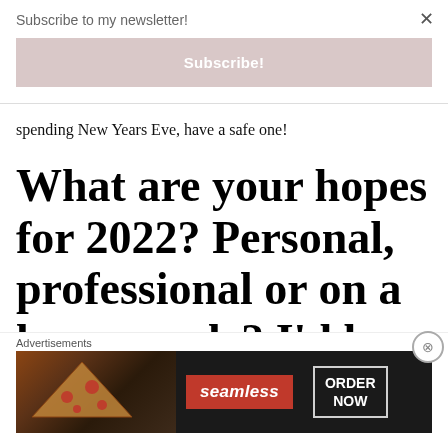Subscribe to my newsletter!
Subscribe!
spending New Years Eve, have a safe one!
What are your hopes for 2022? Personal, professional or on a larger scale? I'd love to hear
Advertisements
[Figure (infographic): Seamless food delivery advertisement banner showing pizza slices on dark background with Seamless logo and ORDER NOW button]